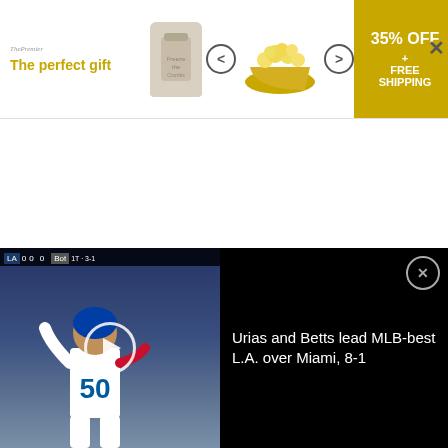[Figure (screenshot): Advertisement banner: 'The perfect gift' with popcorn bowl images, navigation arrows, and '35% OFF + FREE SHIPPING' yellow badge. Close X button at right.]
[CBC; screengrab via BlogTO]
[Figure (screenshot): Author bio box with circular headshot photo and 'About Andrew Bucholtz' heading on gray background.]
[Figure (screenshot): Video overlay at bottom: baseball player wearing #50 jersey on left thumbnail with play button, text 'Urias and Betts lead MLB-best L.A. over Miami, 8-1' on black background, with close (X) button.]